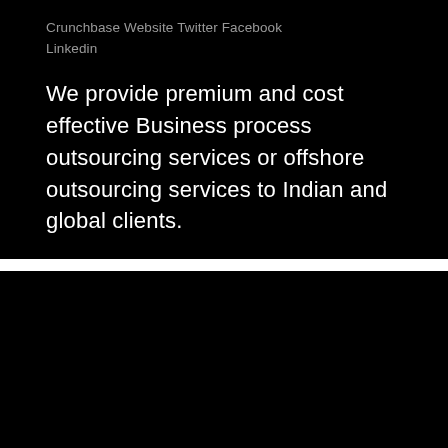Crunchbase Website Twitter Facebook Linkedin
We provide premium and cost effective Business process outsourcing services or offshore outsourcing services to Indian and global clients.
The Center for